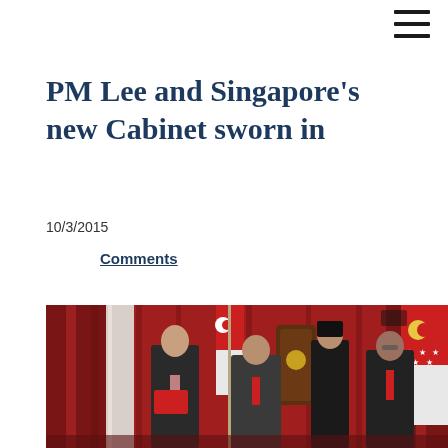≡
PM Lee and Singapore's new Cabinet sworn in
10/3/2015
Comments
[Figure (photo): PM Lee Hsien Loong and Singapore's new Cabinet being sworn in at the Istana, with Singapore flags in the background and red curtains. Several officials in formal attire stand in a ceremonial hall.]